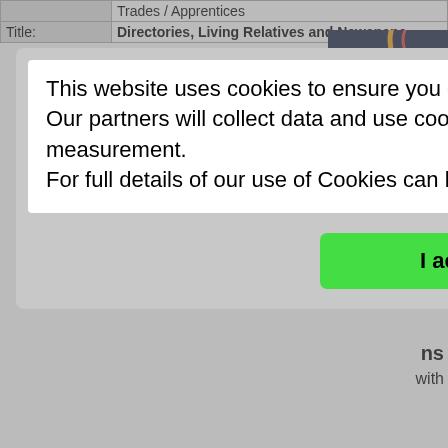Trades / Apprentices
Title: Directories, Living Relatives and Newspaper
This website uses cookies to ensure you get the best experience on our website. Our partners will collect data and use cookies for ad personalization and measurement. For full details of our use of Cookies can be found in our Privacy Policy
I accept
Extra Info: were often published specifically those engaged in a specific profession or those involved in a professional, ethnic, political, fraternal, or military organization.
Classification: Commercial / Trade Directories, School / Education Alumni, Companies / Employee and Union Lists, Trades / Apprentices
Title: Education and Work Records, Occupations
Link: Find